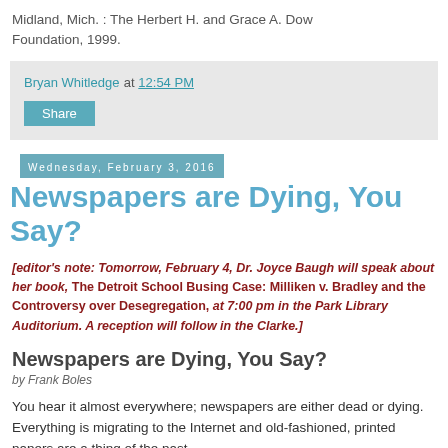Midland, Mich. : The Herbert H. and Grace A. Dow Foundation, 1999.
Bryan Whitledge at 12:54 PM
Share
Wednesday, February 3, 2016
Newspapers are Dying, You Say?
[editor's note: Tomorrow, February 4, Dr. Joyce Baugh will speak about her book, The Detroit School Busing Case: Milliken v. Bradley and the Controversy over Desegregation, at 7:00 pm in the Park Library Auditorium. A reception will follow in the Clarke.]
Newspapers are Dying, You Say?
by Frank Boles
You hear it almost everywhere; newspapers are either dead or dying. Everything is migrating to the Internet and old-fashioned, printed papers are a thing of the past.